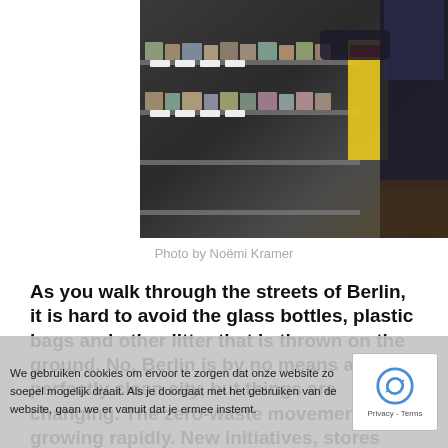[Figure (photo): Person browsing shelves in a grocery or convenience store, reaching toward items on stocked shelves with price tags visible.]
Photo by Noëmi Kramer
As you walk through the streets of Berlin, it is hard to avoid the glass bottles, plastic bags and other litter that is thrown on the ground. No, Berlin is by no means a perfectly clean city, but things are changing. The zero-waste movement is growing rapidly. New initiatives, stores and companies come together to form an open community, focusing on the battle
We gebruiken cookies om ervoor te zorgen dat onze website zo soepel mogelijk draait. Als je doorgaat met het gebruiken van de website, gaan we er vanuit dat je ermee instemt.